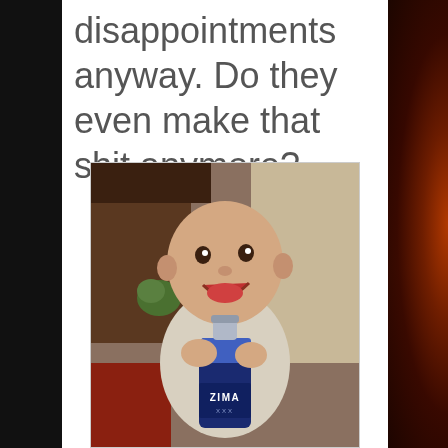disappointments anyway. Do they even make that shit anymore?
[Figure (photo): A baby holding and drinking from a Zima bottle, smiling. Indoor setting with warm background.]